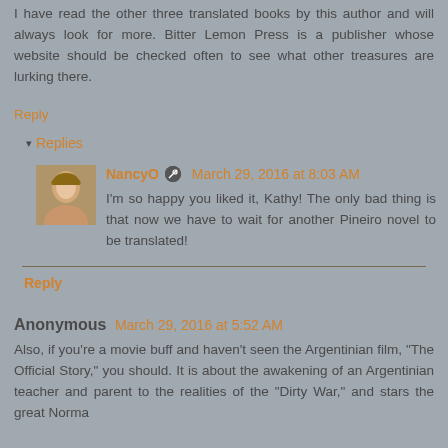I have read the other three translated books by this author and will always look for more. Bitter Lemon Press is a publisher whose website should be checked often to see what other treasures are lurking there.
Reply
Replies
NancyO  March 29, 2016 at 8:03 AM
I'm so happy you liked it, Kathy! The only bad thing is that now we have to wait for another Pineiro novel to be translated!
Reply
Anonymous  March 29, 2016 at 5:52 AM
Also, if you're a movie buff and haven't seen the Argentinian film, "The Official Story," you should. It is about the awakening of an Argentinian teacher and parent to the realities of the "Dirty War," and stars the great Norma